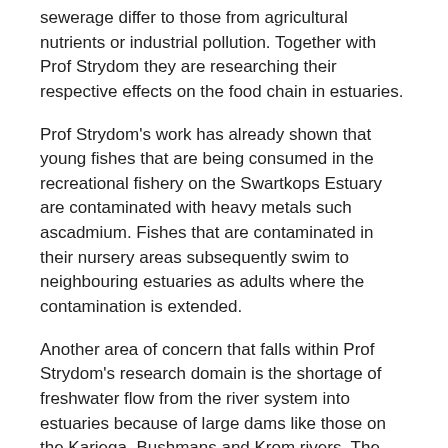sewerage differ to those from agricultural nutrients or industrial pollution. Together with Prof Strydom they are researching their respective effects on the food chain in estuaries.
Prof Strydom's work has already shown that young fishes that are being consumed in the recreational fishery on the Swartkops Estuary are contaminated with heavy metals such ascadmium. Fishes that are contaminated in their nursery areas subsequently swim to neighbouring estuaries as adults where the contamination is extended.
Another area of concern that falls within Prof Strydom's research domain is the shortage of freshwater flow from the river system into estuaries because of large dams like those on the Kariega, Bushmans and Krom rivers. The inflow of fresh water is essential to estuary health. "Many people don't realise the life link between rivers and estuaries is necessary for marine ecosystem survival. Many of our key linefish species use estuaries as nurseries, including the Dusky Kob, White steenbras, Garrick, Spotted grunter and many others," Prof